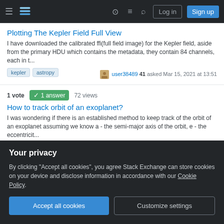Stack Exchange navigation bar with hamburger menu, logo, help, chat, search, Log in, Sign up
Plotting The Kepler Field Full View
I have downloaded the calibrated ffi(full field image) for the Kepler field, aside from the primary HDU which contains the metadata, they contain 84 channels, each in t...
kepler   astropy   user38489 41 asked Mar 15, 2021 at 13:51
1 vote  ✓ 1 answer  72 views
How to track orbit of an exoplanet?
I was wondering if there is an established method to keep track of the orbit of an exoplanet assuming we know a - the semi-major axis of the orbit, e - the eccentricit...
exoplanet   orbital-mechanics   celestial-mechanics   kepler   Jokern 113 asked Feb 14, 2021 at 11:45
Your privacy
By clicking "Accept all cookies", you agree Stack Exchange can store cookies on your device and disclose information in accordance with our Cookie Policy.
Accept all cookies   Customize settings